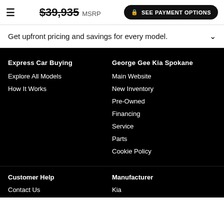$39,935 MSRP  SEE PAYMENT OPTIONS
Get upfront pricing and savings for every model.
Express Car Buying
Explore All Models
How It Works
George Gee Kia Spokane
Main Website
New Inventory
Pre-Owned
Financing
Service
Parts
Cookie Policy
Customer Help
Contact Us
Manufacturer
Kia